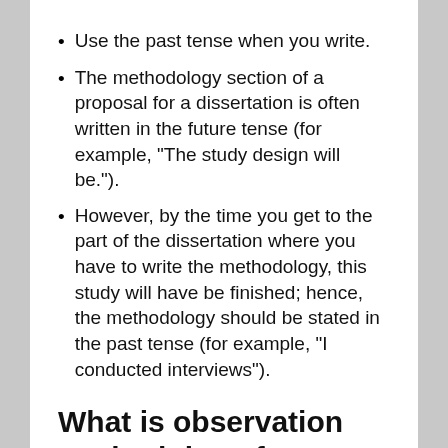Use the past tense when you write.
The methodology section of a proposal for a dissertation is often written in the future tense (for example, "The study design will be.").
However, by the time you get to the part of the dissertation where you have to write the methodology, this study will have be finished; hence, the methodology should be stated in the past tense (for example, "I conducted interviews").
What is observation methodology for dissertation